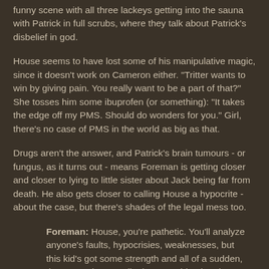funny scene with all three lackeys getting into the sauna with Patrick in full scrubs, where they talk about Patrick's disbelief in god.
House seems to have lost some of his manipulative magic, since it doesn't work on Cameron either. "Tritter wants to win by giving pain. You really want to be a part of that?" She tosses him some ibuprofen (or something): "It takes the edge off my PMS. Should do wonders for you." Girl, there's no case of PMS in the world as big as that.
Drugs aren't the answer, and Patrick's brain tumours - or fungus, as it turns out - means Foreman is getting closer and closer to lying to little sister about Jack being far from death. He also gets closer to calling House a hypocrite - about the case, but there's shades of the legal mess too.
Foreman: House, you're pathetic. You'll analyze anyone's faults, hypocrisies, weaknesses, but this kid's got some strength and all of a sudden, there's no time to talk about anything but the medicine.